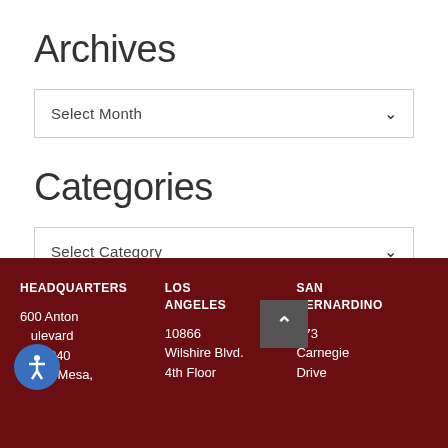Archives
Select Month
Categories
Select Category
HEADQUARTERS | LOS ANGELES | SAN BERNARDINO
600 Anton Boulevard, Suite 1240, Costa Mesa,
10866 Wilshire Blvd., 4th Floor
473 Carnegie Drive